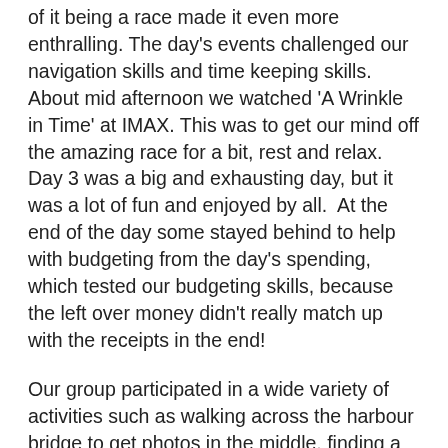of it being a race made it even more enthralling. The day's events challenged our navigation skills and time keeping skills. About mid afternoon we watched 'A Wrinkle in Time' at IMAX. This was to get our mind off the amazing race for a bit, rest and relax. Day 3 was a big and exhausting day, but it was a lot of fun and enjoyed by all. At the end of the day some stayed behind to help with budgeting from the day's spending, which tested our budgeting skills, because the left over money didn't really match up with the receipts in the end!
Our group participated in a wide variety of activities such as walking across the harbour bridge to get photos in the middle, finding a bilingual sign in Chinatown and taking a photo of it, a video of all group members, each standing on a different step, singing the Australian National Anthem at the Opera House. One of our team's strengths was our